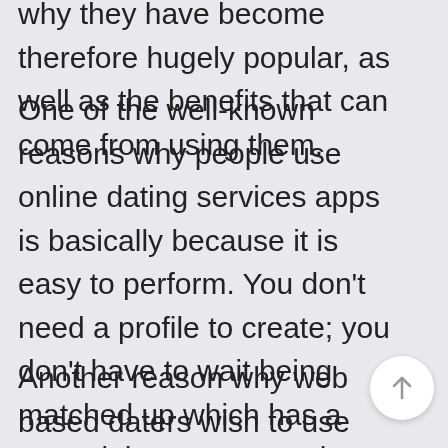why they have become therefore hugely popular, as well as the benefits that can come from using them.
One of the well-known reasons why people use online dating services apps is basically because it is easy to perform. You don't need a profile to create; you don't have to wait being matched up which has a potential spouse; you don't possibly need to keep your home. Now you can to go to the site, set up a profile, and mail some texts to other people. It really is as easy as that.
Another reason why web based daters wish to use these sites is because it is extremely easy to sit about your